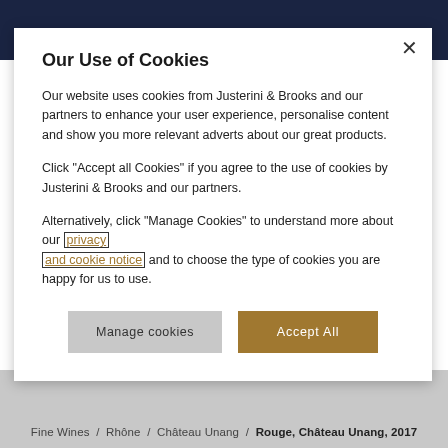Our Use of Cookies
Our website uses cookies from Justerini & Brooks and our partners to enhance your user experience, personalise content and show you more relevant adverts about our great products.
Click "Accept all Cookies" if you agree to the use of cookies by Justerini & Brooks and our partners.
Alternatively, click "Manage Cookies" to understand more about our privacy and cookie notice and to choose the type of cookies you are happy for us to use.
Manage cookies
Accept All
Fine Wines  /  Rhône  /  Château Unang  /  Rouge, Château Unang, 2017